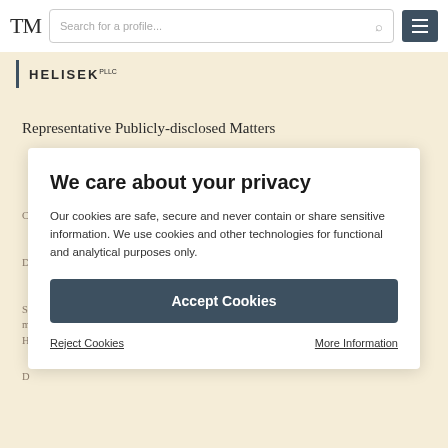TM | Search for a profile... | ☰
HELISEK PLLC
Representative Publicly-disclosed Matters
We care about your privacy

Our cookies are safe, secure and never contain or share sensitive information. We use cookies and other technologies for functional and analytical purposes only.

[Accept Cookies]

Reject Cookies | More Information